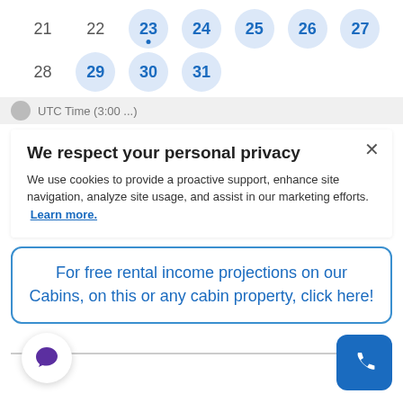[Figure (screenshot): Calendar rows showing dates 21-27 (top row) and 28-31 (bottom row), with dates 23-27 and 29-31 highlighted in light blue circles and shown in bold blue.]
UTC Time (3:00 ...)
We respect your personal privacy
We use cookies to provide a proactive support, enhance site navigation, analyze site usage, and assist in our marketing efforts. Learn more.
For free rental income projections on our Cabins, on this or any cabin property, click here!